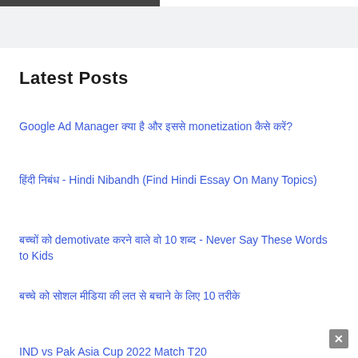Latest Posts
Google Ad Manager क्या है और इससे monetization कैसे करें?
हिंदी निबंध - Hindi Nibandh (Find Hindi Essay On Many Topics)
बच्चों को demotivate करने वाले वो 10 शब्द - Never Say These Words to Kids
बच्चे को सोशल मीडिया की लत से बचाने के लिए 10 तरीके
IND vs Pak Asia Cup 2022 Match T20